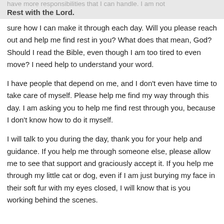have more responsibilities that I can handle. I am not sure how I can make it through each day. Will you please
Rest with the Lord.
sure how I can make it through each day. Will you please reach out and help me find rest in you? What does that mean, God? Should I read the Bible, even though I am too tired to even move? I need help to understand your word.
I have people that depend on me, and I don't even have time to take care of myself. Please help me find my way through this day. I am asking you to help me find rest through you, because I don't know how to do it myself.
I will talk to you during the day, thank you for your help and guidance. If you help me through someone else, please allow me to see that support and graciously accept it. If you help me through my little cat or dog, even if I am just burying my face in their soft fur with my eyes closed, I will know that is you working behind the scenes.